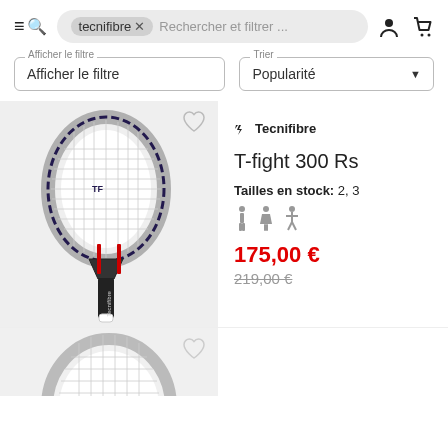tecnifibre × Rechercher et filtrer ...
Afficher le filtre | Popularité
[Figure (photo): Tennis racquet - Tecnifibre T-fight 300 Rs, white with blue/red accents]
Tecnifibre
T-fight 300 Rs
Tailles en stock: 2, 3
175,00 € / 219,00 €
[Figure (photo): Second tennis racquet, partial view from top, metallic/chrome finish]